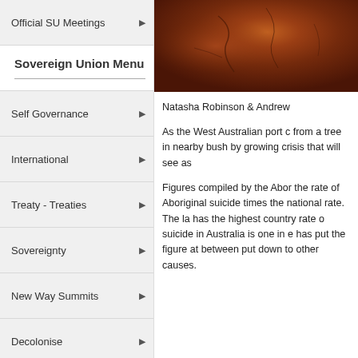Official SU Meetings
Sovereign Union Menu
Self Governance
International
Treaty - Treaties
Sovereignty
New Way Summits
Decolonise
August
July
Special Features
History
[Figure (photo): Close-up photo of reddish-brown bark or soil with cracks, suggesting arid Australian landscape]
Natasha Robinson & Andrew
As the West Australian port c from a tree in nearby bush by growing crisis that will see as
Figures compiled by the Abor the rate of Aboriginal suicide times the national rate. The la has the highest country rate o suicide in Australia is one in e has put the figure at between put down to other causes.